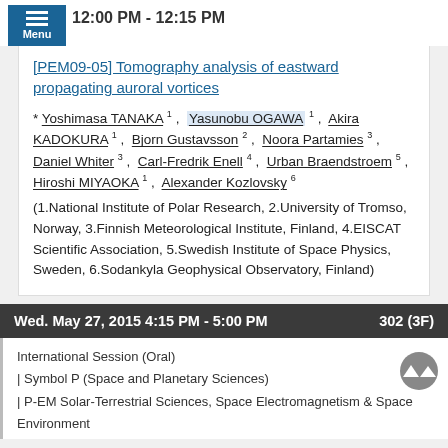12:00 PM - 12:15 PM
[PEM09-05] Tomography analysis of eastward propagating auroral vortices
* Yoshimasa TANAKA 1, Yasunobu OGAWA 1, Akira KADOKURA 1, Bjorn Gustavsson 2, Noora Partamies 3, Daniel Whiter 3, Carl-Fredrik Enell 4, Urban Braendstroem 5, Hiroshi MIYAOKA 1, Alexander Kozlovsky 6
(1.National Institute of Polar Research, 2.University of Tromso, Norway, 3.Finnish Meteorological Institute, Finland, 4.EISCAT Scientific Association, 5.Swedish Institute of Space Physics, Sweden, 6.Sodankyla Geophysical Observatory, Finland)
Wed. May 27, 2015 4:15 PM - 5:00 PM   302 (3F)
International Session (Oral)
| Symbol P (Space and Planetary Sciences)
| P-EM Solar-Terrestrial Sciences, Space Electromagnetism & Space Environment
[P-EM09] Dynamics in magnetosphere and